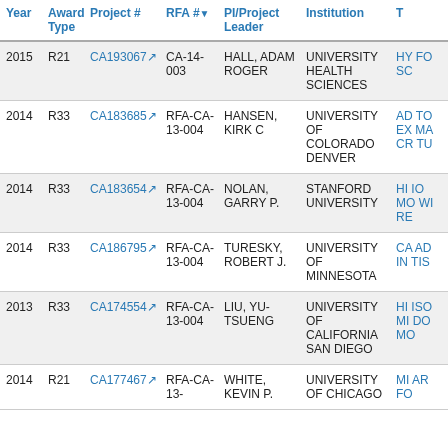| Year | Award Type | Project # | RFA # | PI/Project Leader | Institution | T |
| --- | --- | --- | --- | --- | --- | --- |
| 2015 | R21 | CA193067 | CA-14-003 | HALL, ADAM ROGER | UNIVERSITY HEALTH SCIENCES | HY FO SC |
| 2014 | R33 | CA183685 | RFA-CA-13-004 | HANSEN, KIRK C | UNIVERSITY OF COLORADO DENVER | AD TO EX MA CR TU |
| 2014 | R33 | CA183654 | RFA-CA-13-004 | NOLAN, GARRY P. | STANFORD UNIVERSITY | HI IO MO WI RE |
| 2014 | R33 | CA186795 | RFA-CA-13-004 | TURESKY, ROBERT J. | UNIVERSITY OF MINNESOTA | CA AD IN TIS |
| 2013 | R33 | CA174554 | RFA-CA-13-004 | LIU, YU-TSUENG | UNIVERSITY OF CALIFORNIA SAN DIEGO | HI ISO MI DO MO |
| 2014 | R21 | CA177467 | RFA-CA-13- | WHITE, KEVIN P. | UNIVERSITY OF CHICAGO | MI AR FO |